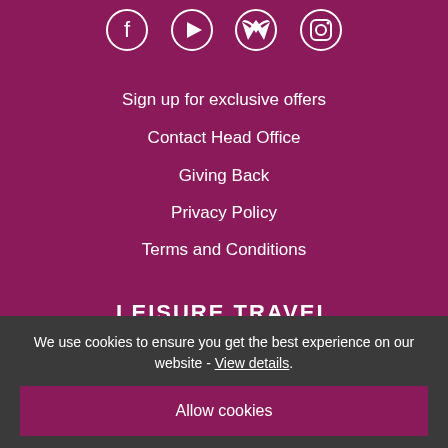[Figure (other): Social media icons row: Facebook, YouTube, Twitter, Instagram]
Sign up for exclusive offers
Contact Head Office
Giving Back
Privacy Policy
Terms and Conditions
LEISURE TRAVEL
Find your Travel Counsellor
Inspire Me
Best Loved Destinations
Offers
We use cookies to ensure you get the best experience on our website - View details.
Allow cookies